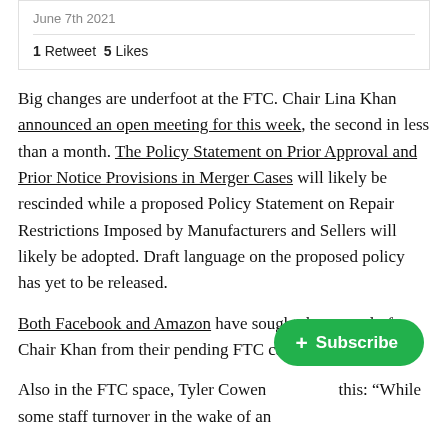June 7th 2021
1 Retweet  5 Likes
Big changes are underfoot at the FTC. Chair Lina Khan announced an open meeting for this week, the second in less than a month. The Policy Statement on Prior Approval and Prior Notice Provisions in Merger Cases will likely be rescinded while a proposed Policy Statement on Repair Restrictions Imposed by Manufacturers and Sellers will likely be adopted. Draft language on the proposed policy has yet to be released.
Both Facebook and Amazon have sought the recusal of Chair Khan from their pending FTC cases.
Also in the FTC space, Tyler Cowen ... this: “While some staff turnover in the wake of an